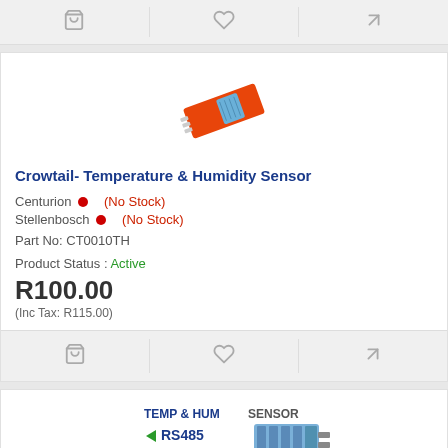[Figure (infographic): Top action bar with cart, heart/wishlist, and compare icons on gray background]
[Figure (photo): Crowtail Temperature and Humidity Sensor module - small orange PCB with blue sensor component, photographed at an angle]
Crowtail- Temperature & Humidity Sensor
Centurion  (No Stock)
Stellenbosch  (No Stock)
Part No: CT0010TH

Product Status : Active
R100.00
(Inc Tax: R115.00)
[Figure (infographic): Bottom action bar with cart, heart/wishlist, and compare icons on gray background]
[Figure (photo): TEMP & HUM SENSOR RS485 product image showing a blue sensor module with RS485 interface]